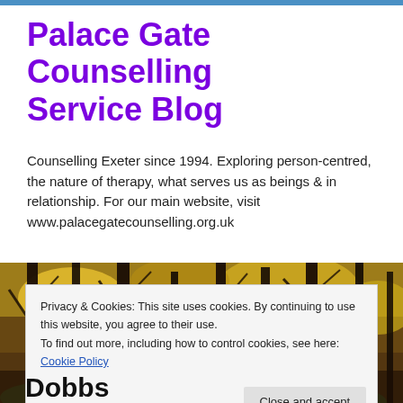Palace Gate Counselling Service Blog
Counselling Exeter since 1994. Exploring person-centred, the nature of therapy, what serves us as beings & in relationship. For our main website, visit www.palacegatecounselling.org.uk
[Figure (photo): Panoramic forest scene with tall dark tree trunks and golden autumn foliage]
Privacy & Cookies: This site uses cookies. By continuing to use this website, you agree to their use.
To find out more, including how to control cookies, see here: Cookie Policy
Close and accept
Dobbs